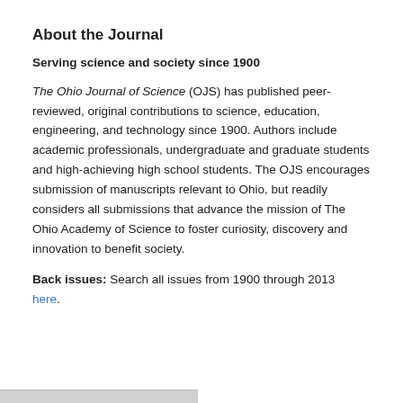About the Journal
Serving science and society since 1900
The Ohio Journal of Science (OJS) has published peer-reviewed, original contributions to science, education, engineering, and technology since 1900. Authors include academic professionals, undergraduate and graduate students and high-achieving high school students. The OJS encourages submission of manuscripts relevant to Ohio, but readily considers all submissions that advance the mission of The Ohio Academy of Science to foster curiosity, discovery and innovation to benefit society.
Back issues: Search all issues from 1900 through 2013 here.